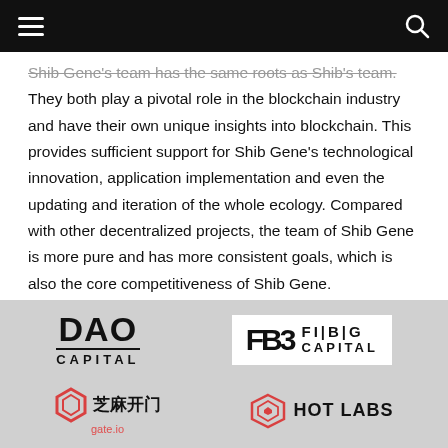≡  [navigation menu bar with search icon]
Shib Gene's team has the same roots as Shib's team. They both play a pivotal role in the blockchain industry and have their own unique insights into blockchain. This provides sufficient support for Shib Gene's technological innovation, application implementation and even the updating and iteration of the whole ecology. Compared with other decentralized projects, the team of Shib Gene is more pure and has more consistent goals, which is also the core competitiveness of Shib Gene.
[Figure (logo): Four sponsor/partner logos: DAO Capital, FIBIG Capital, 芝麻开门 (gate.io), HOT LABS]